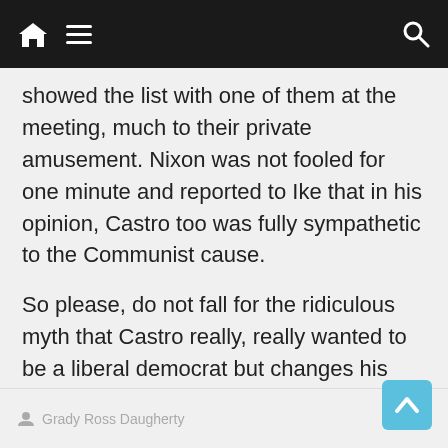Navigation bar with home, menu, and search icons
showed the list with one of them at the meeting, much to their private amusement. Nixon was not fooled for one minute and reported to Ike that in his opinion, Castro too was fully sympathetic to the Communist cause.
So please, do not fall for the ridiculous myth that Castro really, really wanted to be a liberal democrat but changes his mind only after the Yankees snubbed him.
Grady Ross Daugherty